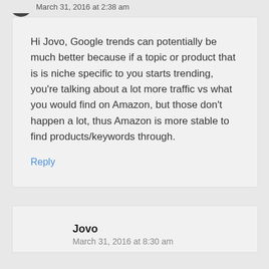March 31, 2016 at 2:38 am
Hi Jovo, Google trends can potentially be much better because if a topic or product that is is niche specific to you starts trending, you’re talking about a lot more traffic vs what you would find on Amazon, but those don’t happen a lot, thus Amazon is more stable to find products/keywords through.
Reply
Jovo
March 31, 2016 at 8:30 am